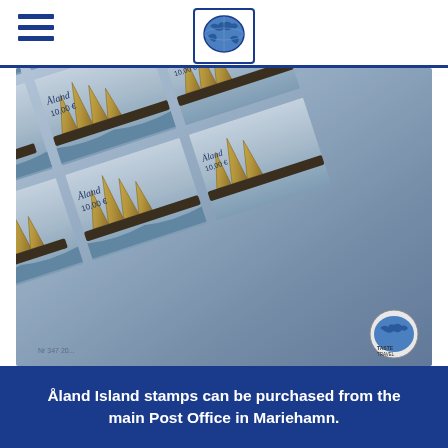Taste Travel (logo/navigation header)
[Figure (photo): Close-up photograph of Åland Islands postage stamps featuring sailing ships with yellow sails on blue-grey water. The stamps show 'Åland 10,00 €' text in italic script. Multiple rows of stamps are shown in a diagonal arrangement.]
Åland Island stamps can be purchased from the main Post Office in Mariehamn.